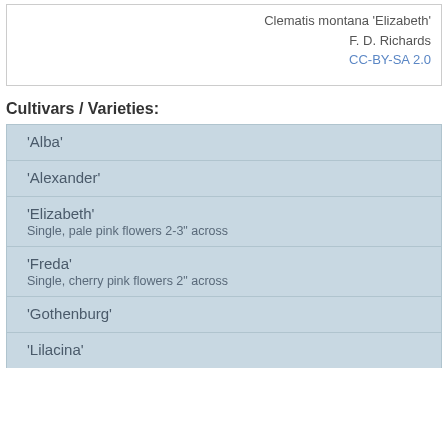Clematis montana 'Elizabeth'
F. D. Richards
CC-BY-SA 2.0
Cultivars / Varieties:
'Alba'
'Alexander'
'Elizabeth'
Single, pale pink flowers 2-3" across
'Freda'
Single, cherry pink flowers 2" across
'Gothenburg'
'Lilacina'